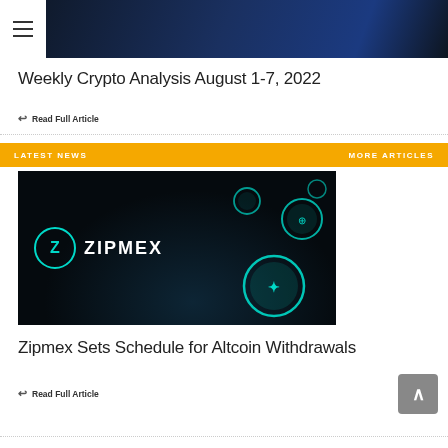[Figure (photo): Hero image showing a smartphone with a dark blue screen, hands holding it]
Weekly Crypto Analysis August 1-7, 2022
Read Full Article
LATEST NEWS    MORE ARTICLES
[Figure (photo): Zipmex logo with teal glowing coin bubbles on dark background]
Zipmex Sets Schedule for Altcoin Withdrawals
Read Full Article